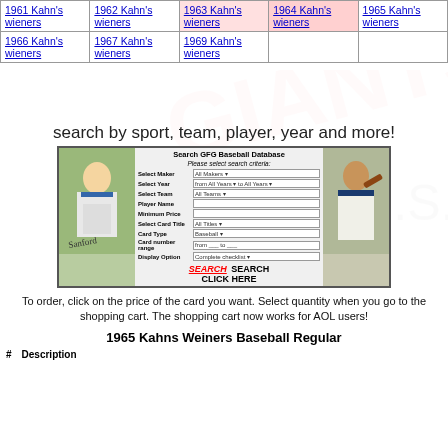|  |  |  |  |  |
| --- | --- | --- | --- | --- |
| 1961 Kahn's wieners | 1962 Kahn's wieners | 1963 Kahn's wieners | 1964 Kahn's wieners | 1965 Kahn's wieners |
| 1966 Kahn's wieners | 1967 Kahn's wieners | 1969 Kahn's wieners |  |  |
search by sport, team, player, year and more!
[Figure (screenshot): Search GFG Baseball Database form with player card images on left and right sides, search fields for Maker, Year, Team, Player Name, Minimum Price, Card Title, Card Type, Card number range, Display Option, and a Search/Click Here button]
To order, click on the price of the card you want. Select quantity when you go to the shopping cart. The shopping cart now works for AOL users!
1965 Kahns Weiners Baseball Regular
#   Description